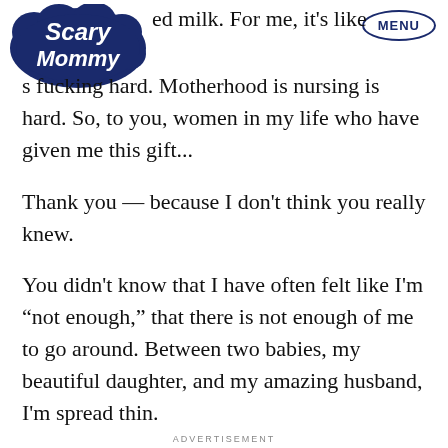Scary Mommy | MENU
ed milk. For me, it's like ho... s fucking hard. Motherhood is nursing is hard. So, to you, women in my life who have given me this gift...
Thank you — because I don't think you really knew.
You didn't know that I have often felt like I'm “not enough,” that there is not enough of me to go around. Between two babies, my beautiful daughter, and my amazing husband, I'm spread thin.
ADVERTISEMENT